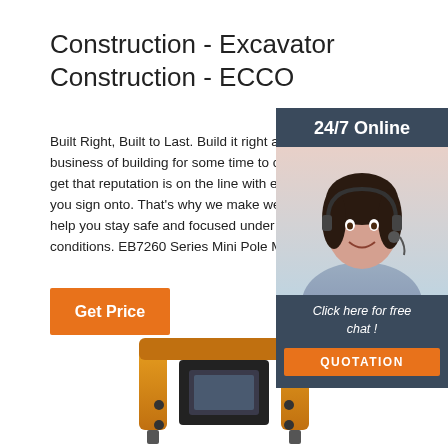Construction - Excavator Construction - ECCO
Built Right, Built to Last. Build it right and you'll be in the business of building for some time to come. At ECCO, we get that reputation is on the line with every construction job you sign onto. That's why we make well-built products that help you stay safe and focused under all kinds of conditions. EB7260 Series Mini Pole Mount EB...
[Figure (photo): Customer service agent with headset smiling, with '24/7 Online' label at top and 'Click here for free chat!' and 'QUOTATION' button below]
[Figure (photo): Yellow construction excavator / mini excavator equipment, bottom portion visible]